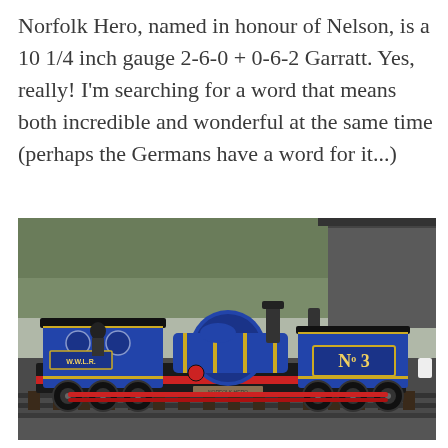Norfolk Hero, named in honour of Nelson, is a 10 1/4 inch gauge 2-6-0 + 0-6-2 Garratt. Yes, really! I'm searching for a word that means both incredible and wonderful at the same time (perhaps the Germans have a word for it...)
[Figure (photo): A blue and black narrow gauge Garratt steam locomotive marked 'W.W.L.R.' and 'No 3', photographed outdoors on tracks. A person is visible in the cab area. Trees and a shed are visible in the background.]